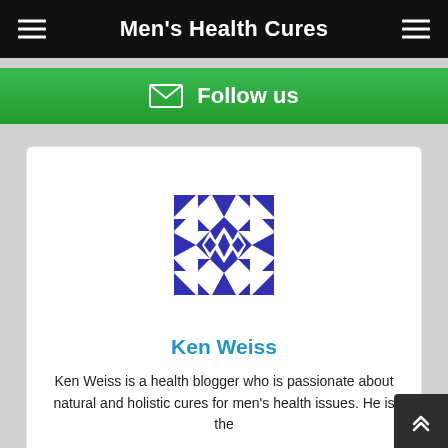Men's Health Cures
Follow us
[Figure (illustration): Geometric blue decorative avatar/logo with diamond and chevron pattern in dark blue/indigo on white background]
Ken Weiss
Ken Weiss is a health blogger who is passionate about natural and holistic cures for men's health issues. He is the